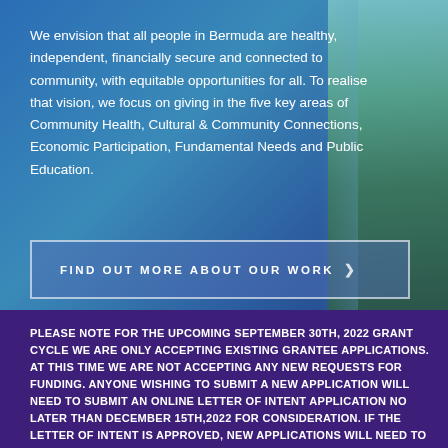We envision that all people in Bermuda are healthy, independent, financially secure and connected to community, with equitable opportunities for all. To realise that vision, we focus on giving in the five key areas of Community Health, Cultural & Community Connections, Economic Participation, Fundamental Needs and Public Education.
FIND OUT MORE ABOUT OUR WORK >
PLEASE NOTE FOR THE UPCOMING SEPTEMBER 30TH, 2022 GRANT CYCLE WE ARE ONLY ACCEPTING EXISTING GRANTEE APPLICATIONS. AT THIS TIME WE ARE NOT ACCEPTING ANY NEW REQUESTS FOR FUNDING. ANYONE WISHING TO SUBMIT A NEW APPLICATION WILL NEED TO SUBMIT AN ONLINE LETTER OF INTENT APPLICATION NO LATER THAN DECEMBER 15TH,2022 FOR CONSIDERATION. IF THE LETTER OF INTENT IS APPROVED, NEW APPLICATIONS WILL NEED TO BE SUBMITTED